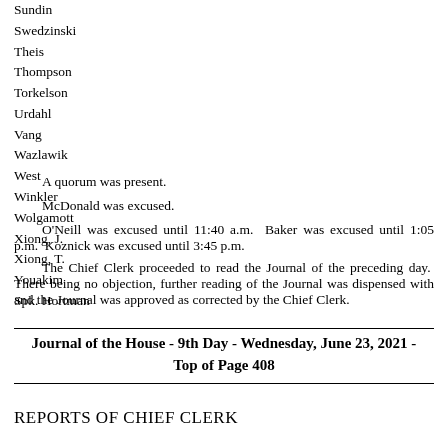Sundin
Swedzinski
Theis
Thompson
Torkelson
Urdahl
Vang
Wazlawik
West
Winkler
Wolgamott
Xiong, J.
Xiong, T.
Youakim
Spk. Hortman
A quorum was present.
McDonald was excused.
O'Neill was excused until 11:40 a.m.  Baker was excused until 1:05 p.m.  Koznick was excused until 3:45 p.m.
The Chief Clerk proceeded to read the Journal of the preceding day.  There being no objection, further reading of the Journal was dispensed with and the Journal was approved as corrected by the Chief Clerk.
Journal of the House - 9th Day - Wednesday, June 23, 2021 - Top of Page 408
REPORTS OF CHIEF CLERK